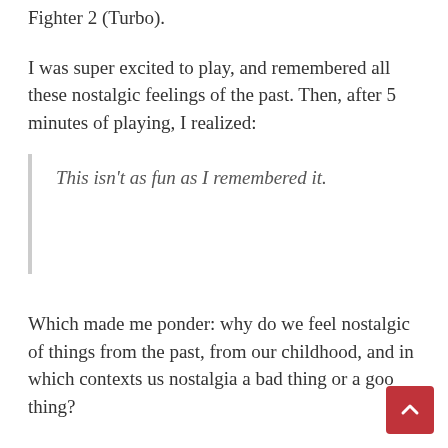Fighter 2 (Turbo).
I was super excited to play, and remembered all these nostalgic feelings of the past. Then, after 5 minutes of playing, I realized:
This isn't as fun as I remembered it.
Which made me ponder: why do we feel nostalgic of things from the past, from our childhood, and in which contexts us nostalgia a bad thing or a good thing?